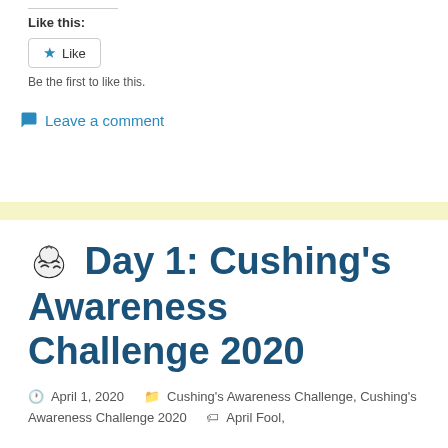Like this:
[Figure (other): Like button widget with star icon and 'Like' text in a bordered button]
Be the first to like this.
Leave a comment
🦓 Day 1: Cushing's Awareness Challenge 2020
April 1, 2020  Cushing's Awareness Challenge, Cushing's Awareness Challenge 2020  April Fool,